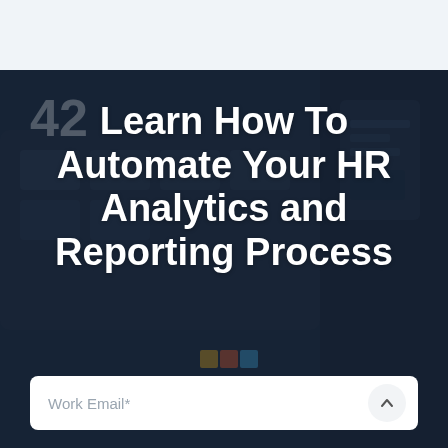Learn How To Automate Your HR Analytics and Reporting Process
Work Email*